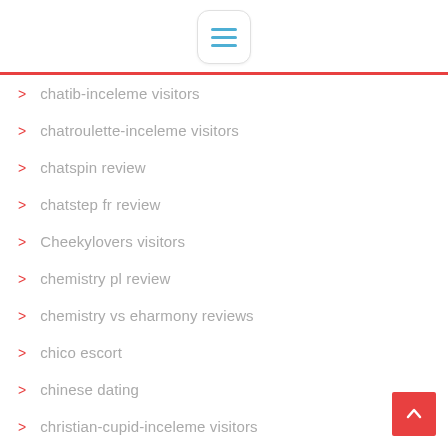[Figure (other): Navigation menu hamburger button icon in a rounded rectangle]
chatib-inceleme visitors
chatroulette-inceleme visitors
chatspin review
chatstep fr review
Cheekylovers visitors
chemistry pl review
chemistry vs eharmony reviews
chico escort
chinese dating
christian-cupid-inceleme visitors